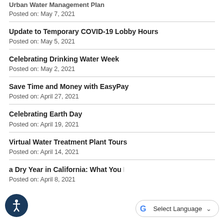Urban Water Management Plan (partial, top cut off)
Posted on: May 7, 2021
Update to Temporary COVID-19 Lobby Hours
Posted on: May 5, 2021
Celebrating Drinking Water Week
Posted on: May 2, 2021
Save Time and Money with EasyPay
Posted on: April 27, 2021
Celebrating Earth Day
Posted on: April 19, 2021
Virtual Water Treatment Plant Tours
Posted on: April 14, 2021
a Dry Year in California: What You Need (partial)
Posted on: April 8, 2021